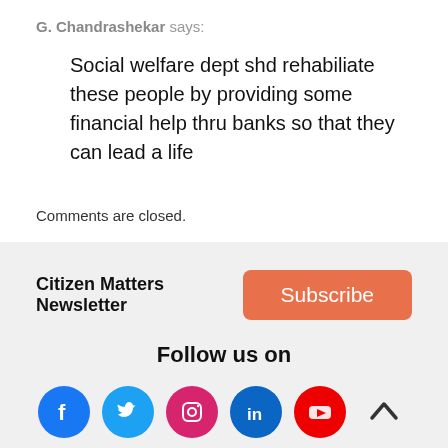G. Chandrashekar says:
Social welfare dept shd rehabiliate these people by providing some financial help thru banks so that they can lead a life
Comments are closed.
Citizen Matters Newsletter
Subscribe
Follow us on
[Figure (infographic): Social media icons: Facebook, Twitter, Instagram, LinkedIn, YouTube and a scroll-to-top arrow]